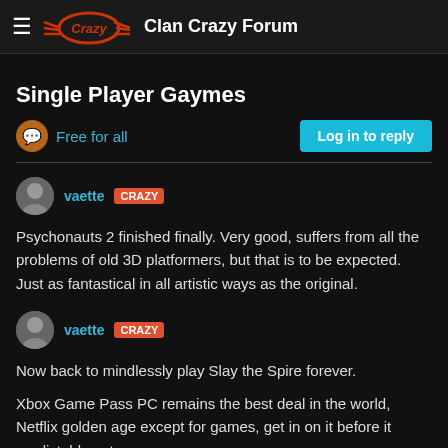Clan Crazy Forum
Single Player Gaymes
Free for all
Log in to reply
vaette CRAZY
Psychonauts 2 finished finally. Very good, suffers from all the problems of old 3D platformers, but that is to be expected. Just as fantastical in all artistic ways as the original.
vaette CRAZY
Now back to mindlessly play Slay the Spire forever.

Xbox Game Pass PC remains the best deal in the world, Netflix golden age except for games, get in on it before it predictably gets